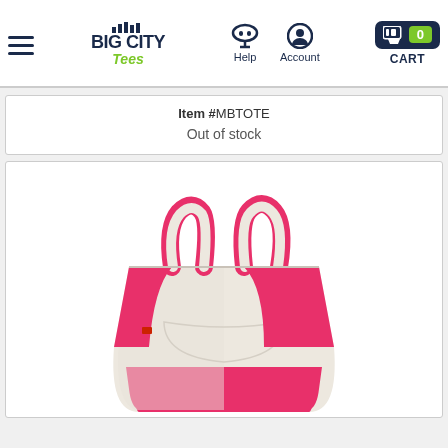Big City Tees — Help | Account | CART 0
Item #MBTOTE
Out of stock
[Figure (photo): Canvas tote bag with cream/natural body and hot pink handles and trim, sitting on white background. The bag has two short loop handles in pink with matching bottom panel in pink.]